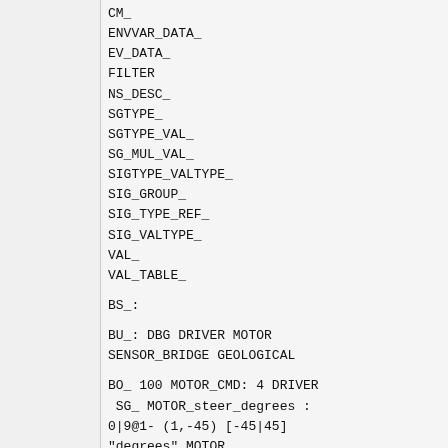CM_
ENVVAR_DATA_
EV_DATA_
FILTER
NS_DESC_
SGTYPE_
SGTYPE_VAL_
SG_MUL_VAL_
SIGTYPE_VALTYPE_
SIG_GROUP_
SIG_TYPE_REF_
SIG_VALTYPE_
VAL_
VAL_TABLE_
BS_:
BU_: DBG DRIVER MOTOR
SENSOR_BRIDGE GEOLOGICAL
BO_ 100 MOTOR_CMD: 4 DRIVER
 SG_ MOTOR_steer_degrees :
0|9@1- (1,-45) [-45|45]
"degrees" MOTOR
 SG_ MOTOR_speed_kph : 9|20@1-
(0.1,-40.5) [-40.5|40.5] "kph"
MOTOR
BO_ 101 MOTOR_STATUS: 4 MOTOR
 SG_
MOTOR_STATUS_steer_degrees :
0|9@1- (1,-45) [-45|45]
"degrees" DRIVER